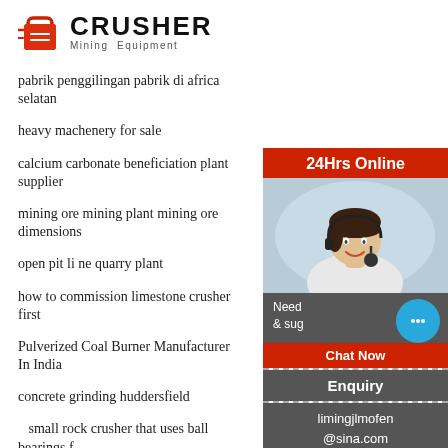[Figure (logo): Crusher Mining Equipment logo with red shopping bag icon and bold text]
pabrik penggilingan pabrik di africa selatan
heavy machenery for sale
calcium carbonate beneficiation plant supplier
mining ore mining plant mining ore dimensions
open pit li ne quarry plant
how to commission limestone crusher first
Pulverized Coal Burner Manufacturer In India
concrete grinding huddersfield
small rock crusher that uses ball bearings for crusher machine
quartzite used mobile crusher for sale
used lucas mill model for sale
[Figure (infographic): Sidebar with 24Hrs Online label, customer service photo, chat bubble, Chat Now button, Enquiry section, and limingjlmofen@sina.com email]